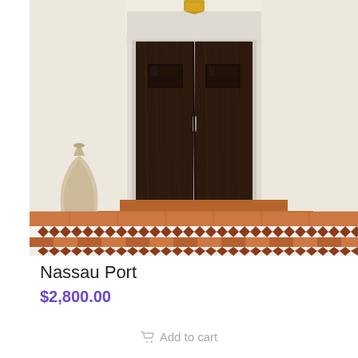[Figure (illustration): Product image showing a Spanish/Mediterranean style double front door in dark wood with decorative glass panels, set in a cream/off-white stucco wall. Terracotta tile steps in foreground with decorative diamond tile border strips. A ceramic vase on the left side. Lantern light fixture above the door.]
Nassau Port
$2,800.00
Add to cart